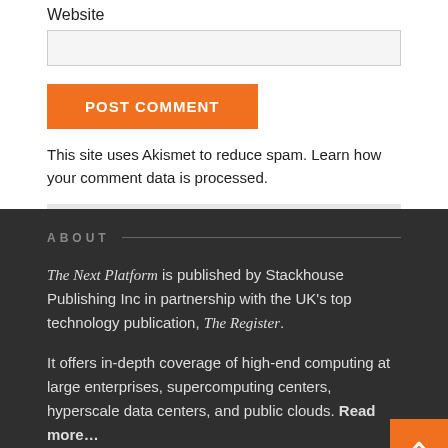Website
POST COMMENT
This site uses Akismet to reduce spam. Learn how your comment data is processed.
ABOUT
The Next Platform is published by Stackhouse Publishing Inc in partnership with the UK's top technology publication, The Register.
It offers in-depth coverage of high-end computing at large enterprises, supercomputing centers, hyperscale data centers, and public clouds. Read more…
NEWSLETTER